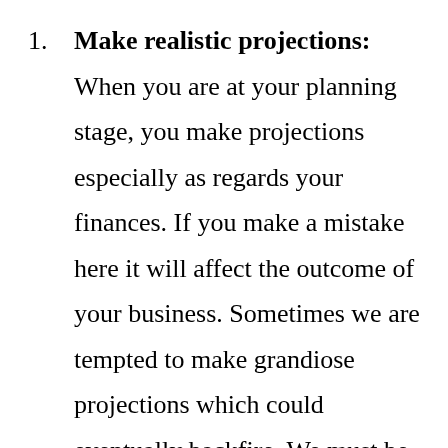Make realistic projections: When you are at your planning stage, you make projections especially as regards your finances. If you make a mistake here it will affect the outcome of your business. Sometimes we are tempted to make grandiose projections which could eventually backfire. We must be realistic when we make projections. We must consider all aspect to the business before making projections. We must gather